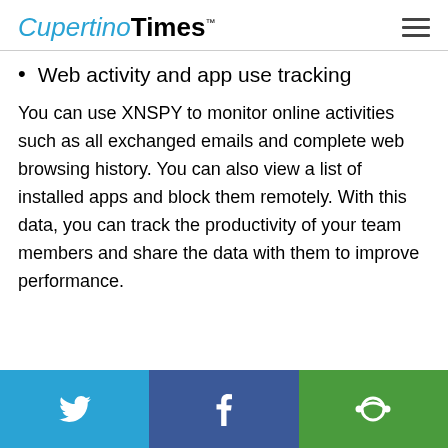CupertinoTimes™
Web activity and app use tracking
You can use XNSPY to monitor online activities such as all exchanged emails and complete web browsing history. You can also view a list of installed apps and block them remotely. With this data, you can track the productivity of your team members and share the data with them to improve performance.
Social share bar: Twitter, Facebook, other